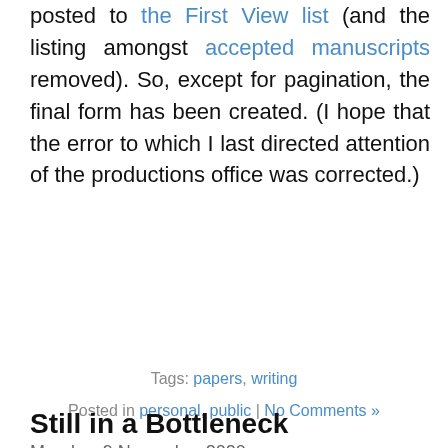posted to the First View list (and the listing amongst accepted manuscripts removed). So, except for pagination, the final form has been created. (I hope that the error to which I last directed attention of the productions office was corrected.)
Tags: papers, writing
Posted in personal, public | No Comments »
Still in a Bottleneck
Monday, 9 November 2020